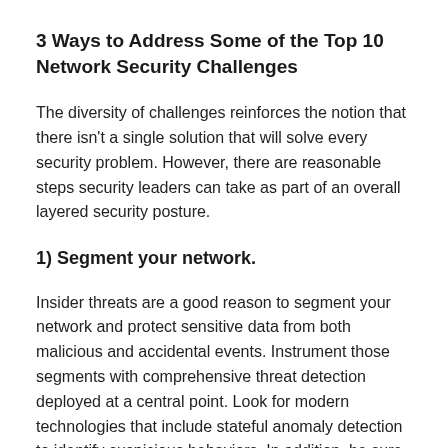3 Ways to Address Some of the Top 10 Network Security Challenges
The diversity of challenges reinforces the notion that there isn't a single solution that will solve every security problem. However, there are reasonable steps security leaders can take as part of an overall layered security posture.
1) Segment your network.
Insider threats are a good reason to segment your network and protect sensitive data from both malicious and accidental events. Instrument those segments with comprehensive threat detection deployed at a central point. Look for modern technologies that include stateful anomaly detection to identify suspicious behaviors. In addition, be sure to